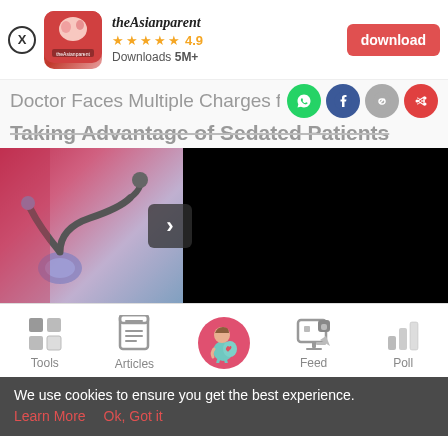[Figure (screenshot): App download banner for theAsianparent with close button, app icon, name, 4.9 star rating, 5M+ downloads, and red download button]
Doctor Faces Multiple Charges for Taking Advantage of Sedated Patients
[Figure (photo): Article header image showing stethoscope and medical equipment with partially black image on right side and navigation arrow]
[Figure (screenshot): Bottom navigation bar with Tools, Articles, home (pregnant woman icon), Feed, and Poll icons]
We use cookies to ensure you get the best experience.
Learn More   Ok, Got it